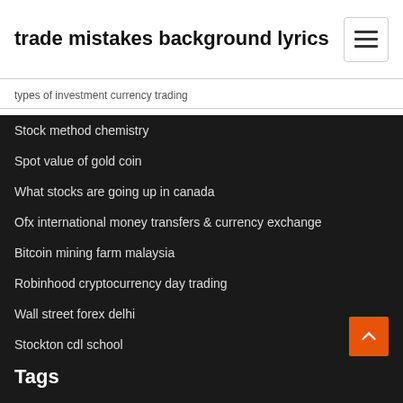trade mistakes background lyrics
types of investment currency trading
Stock method chemistry
Spot value of gold coin
What stocks are going up in canada
Ofx international money transfers & currency exchange
Bitcoin mining farm malaysia
Robinhood cryptocurrency day trading
Wall street forex delhi
Stockton cdl school
Exchange rate usd to peso mexico
Tags